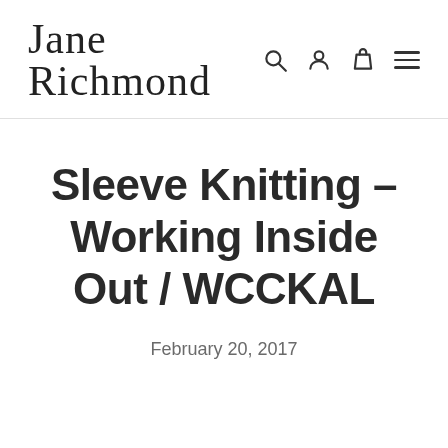Jane Richmond
Sleeve Knitting – Working Inside Out / WCCKAL
February 20, 2017